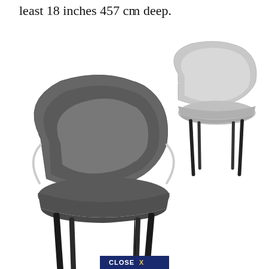least 18 inches 457 cm deep.
[Figure (photo): Two modern accent chairs with curved backs, upholstered in textured fabric (dark grey and light grey), with black metal legs. The chairs are shown from a three-quarter angle on a white background. A 'CLOSE X' button appears at the bottom center.]